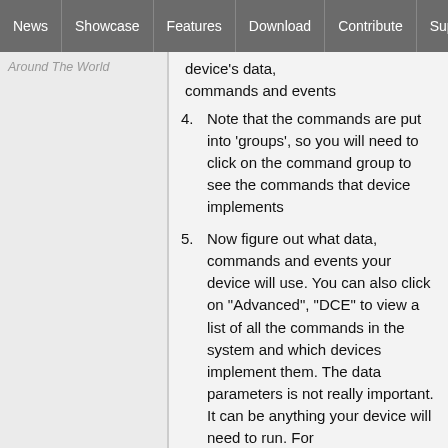News | Showcase | Features | Download | Contribute | Support
Around The World
device's data, commands and events
Note that the commands are put into 'groups', so you will need to click on the command group to see the commands that device implements
Now figure out what data, commands and events your device will use. You can also click on "Advanced", "DCE" to view a list of all the commands in the system and which devices implement them. The data parameters is not really important. It can be anything your device will need to run. For